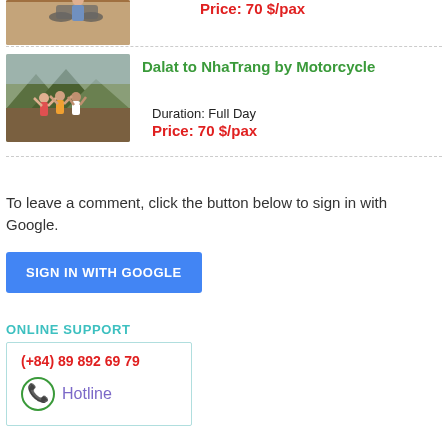[Figure (photo): People on a motorcycle tour, partial view at top of page]
[Figure (photo): Group of people celebrating on rocky mountain overlook with valley background]
Dalat to NhaTrang by Motorcycle
Duration: Full Day
Price: 70 $/pax
To leave a comment, click the button below to sign in with Google.
SIGN IN WITH GOOGLE
ONLINE SUPPORT
(+84) 89 892 69 79
Hotline